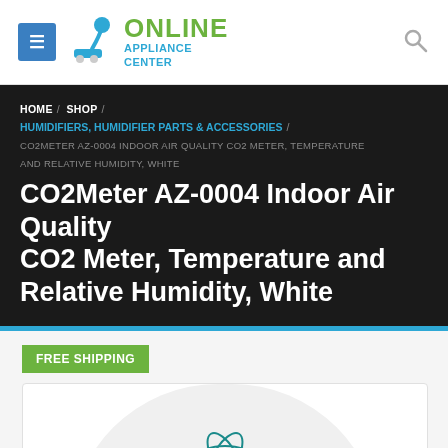[Figure (logo): Online Appliance Center logo with blue menu hamburger icon, vacuum cleaner graphic, and green/blue text]
HOME / SHOP / HUMIDIFIERS, HUMIDIFIER PARTS & ACCESSORIES / CO2METER AZ-0004 INDOOR AIR QUALITY CO2 METER, TEMPERATURE AND RELATIVE HUMIDITY, WHITE
CO2Meter AZ-0004 Indoor Air Quality CO2 Meter, Temperature and Relative Humidity, White
FREE SHIPPING
[Figure (photo): White circular CO2 meter device with teal CO2Meter logo/atom icon on top surface]